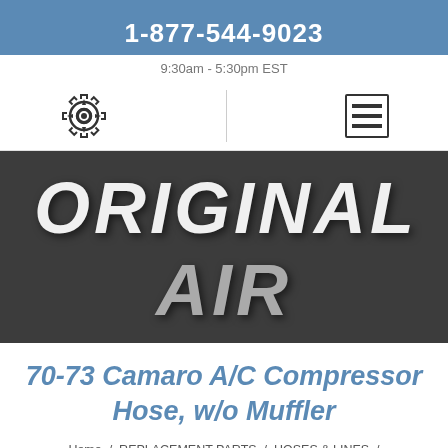1-877-544-9023
9:30am - 5:30pm EST
[Figure (illustration): Gear/settings icon and hamburger menu icon in navigation bar]
[Figure (logo): Original Air logo text on dark banner background]
70-73 Camaro A/C Compressor Hose, w/o Muffler
Home / REPLACEMENT PARTS / HOSES & LINES /
70-73 Camaro A/C Compressor Hose, w/o Muffler